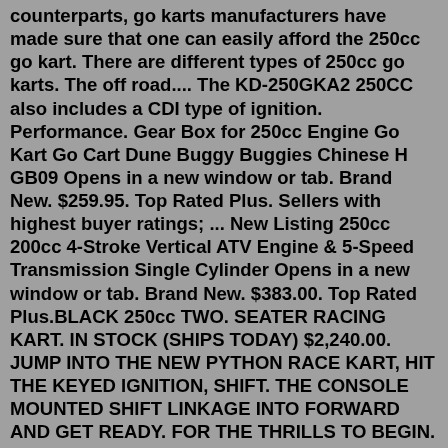counterparts, go karts manufacturers have made sure that one can easily afford the 250cc go kart. There are different types of 250cc go karts. The off road.... The KD-250GKA2 250CC also includes a CDI type of ignition. Performance. Gear Box for 250cc Engine Go Kart Go Cart Dune Buggy Buggies Chinese H GB09 Opens in a new window or tab. Brand New. $259.95. Top Rated Plus. Sellers with highest buyer ratings; ... New Listing 250cc 200cc 4-Stroke Vertical ATV Engine & 5-Speed Transmission Single Cylinder Opens in a new window or tab. Brand New. $383.00. Top Rated Plus.BLACK 250cc TWO. SEATER RACING KART. IN STOCK (SHIPS TODAY) $2,240.00. JUMP INTO THE NEW PYTHON RACE KART, HIT THE KEYED IGNITION, SHIFT. THE CONSOLE MOUNTED SHIFT LINKAGE INTO FORWARD AND GET READY. FOR THE THRILLS TO BEGIN. UNMATCHED FEATURES: 250cc WATER COOLED SINGLE CYLINDER 4 STROKE MOTOR. ★ Stay subbed, more Go Pro